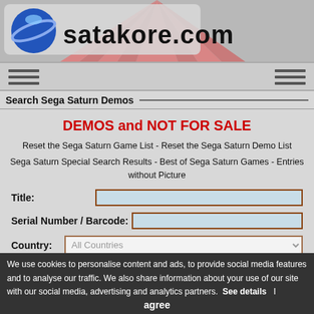[Figure (screenshot): Satakore.com website header banner with logo (blue sphere with ring and 'satakore.com' text) on a gray background with red rising-sun rays pattern, and a navigation bar below with menu icon lines on both sides.]
Search Sega Saturn Demos
DEMOS and NOT FOR SALE
Reset the Sega Saturn Game List - Reset the Sega Saturn Demo List
Sega Saturn Special Search Results - Best of Sega Saturn Games - Entries without Picture
Title:
Serial Number / Barcode:
Country:  All Countries
Search   Reset
Search Criteria:  Demo
Result Pages (31, 15/page):
We use cookies to personalise content and ads, to provide social media features and to analyse our traffic. We also share information about your use of our site with our social media, advertising and analytics partners.  See details   I agree